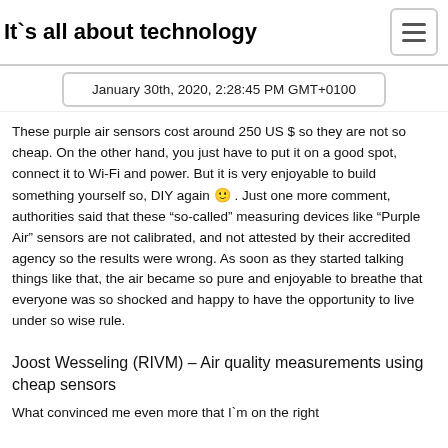It`s all about technology
[Figure (screenshot): Screenshot showing date and time: January 30th, 2020, 2:28:45 PM GMT+0100]
These purple air sensors cost around 250 US $ so they are not so cheap. On the other hand, you just have to put it on a good spot, connect it to Wi-Fi and power. But it is very enjoyable to build something yourself so, DIY again 🙂 . Just one more comment, authorities said that these “so-called” measuring devices like “Purple Air” sensors are not calibrated, and not attested by their accredited agency so the results were wrong. As soon as they started talking things like that, the air became so pure and enjoyable to breathe that everyone was so shocked and happy to have the opportunity to live under so wise rule.
Joost Wesseling (RIVM) – Air quality measurements using cheap sensors
What convinced me even more that I`m on the right